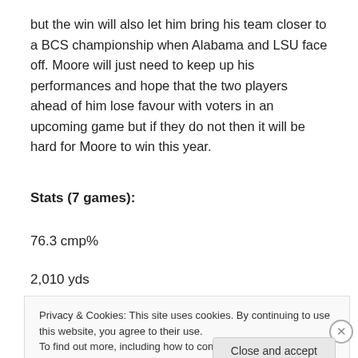but the win will also let him bring his team closer to a BCS championship when Alabama and LSU face off. Moore will just need to keep up his performances and hope that the two players ahead of him lose favour with voters in an upcoming game but if they do not then it will be hard for Moore to win this year.
Stats (7 games):
76.3 cmp%
2,010 yds
Privacy & Cookies: This site uses cookies. By continuing to use this website, you agree to their use.
To find out more, including how to control cookies, see here: Cookie Policy
Close and accept